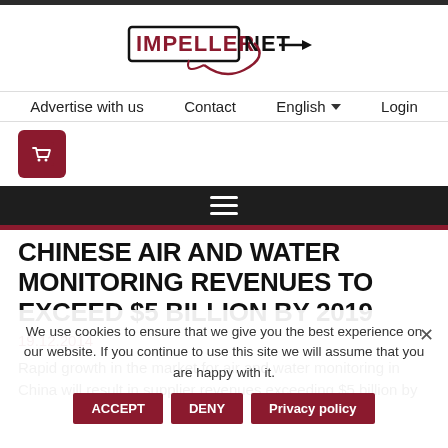[Figure (logo): Impeller.net logo with stylized swirl and arrow]
Advertise with us   Contact   English ▼   Login
[Figure (illustration): Shopping cart icon in dark red square button]
☰ hamburger menu
CHINESE AIR AND WATER MONITORING REVENUES TO EXCEED $5 BILLION BY 2019
We use cookies to ensure that we give you the best experience on our website. If you continue to use this site we will assume that you are happy with it.
19.12.2014
ACCEPT   DENY   Privacy policy
Rapid growth in the market for air and water monitoring in China will result in supplier revenues exceeding $5 billion by